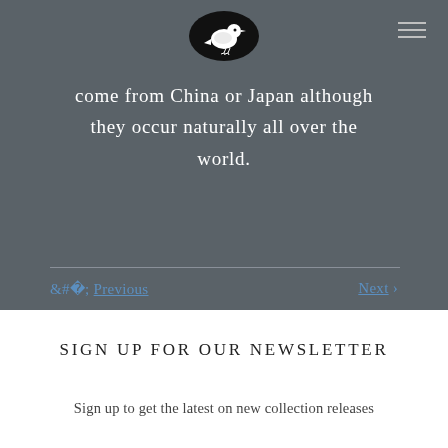[Figure (logo): White pigeon/dove illustration inside a black oval logo]
come from China or Japan although they occur naturally all over the world.
‹ Previous    Next ›
SIGN UP FOR OUR NEWSLETTER
Sign up to get the latest on new collection releases